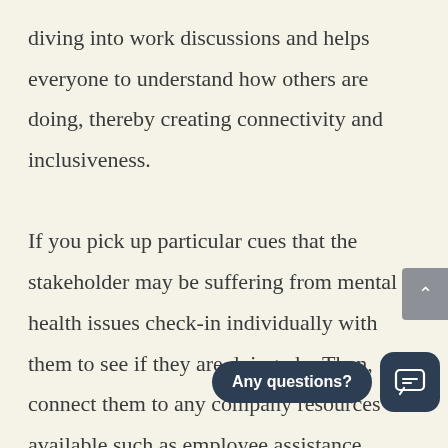diving into work discussions and helps everyone to understand how others are doing, thereby creating connectivity and inclusiveness.

If you pick up particular cues that the stakeholder may be suffering from mental health issues check-in individually with them to see if they are doing ok.  Then, connect them to any company resources available such as employee assistance programs.

Map out the initiatives that impact